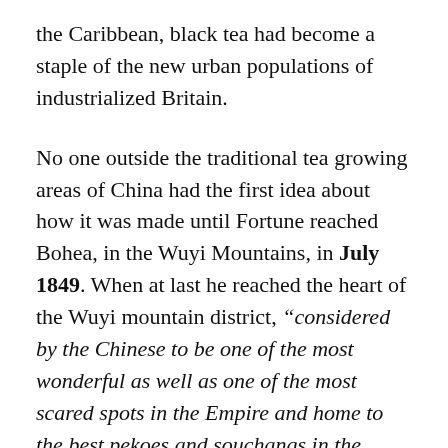the Caribbean, black tea had become a staple of the new urban populations of industrialized Britain.
No one outside the traditional tea growing areas of China had the first idea about how it was made until Fortune reached Bohea, in the Wuyi Mountains, in July 1849. When at last he reached the heart of the Wuyi mountain district, “considered by the Chinese to be one of the most wonderful as well as one of the most scared spots in the Empire and home to the best pekoes and souchangs in the world,” he went up to a temple atop a 1,000 foot peak, met in peace, and made